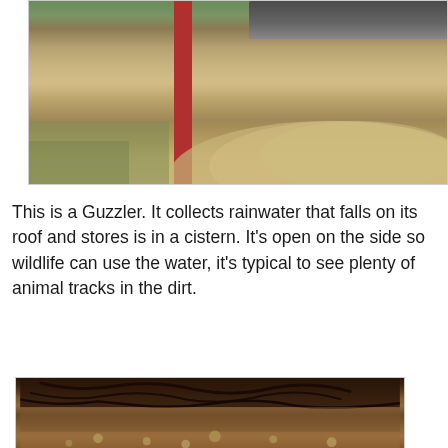[Figure (photo): Photograph of a Guzzler structure showing a red metal post with a dark roof/panel on mounded sandy/dirt ground with dry grass visible]
This is a Guzzler. It collects rainwater that falls on its roof and stores is in a cistern. It's open on the side so wildlife can use the water, it's typical to see plenty of animal tracks in the dirt.
[Figure (photo): Close-up photograph of dirt/mud ground showing animal tracks and marks in the soil, with some small stones or pebbles visible]